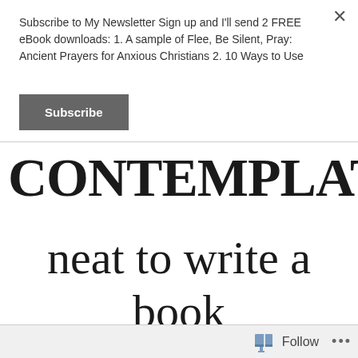Subscribe to My Newsletter Sign up and I'll send 2 FREE eBook downloads: 1. A sample of Flee, Be Silent, Pray: Ancient Prayers for Anxious Christians 2. 10 Ways to Use
Subscribe
CONTEMPLATIVE
neat to write a book
Follow ···